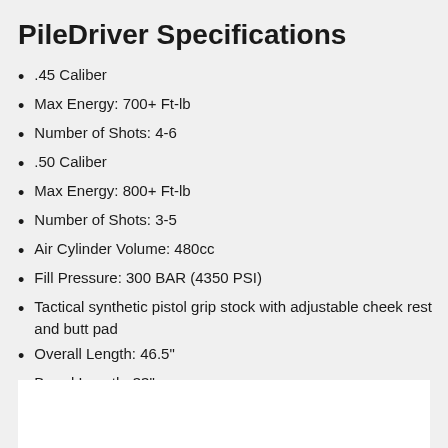PileDriver Specifications
.45 Caliber
Max Energy: 700+ Ft-lb
Number of Shots: 4-6
.50 Caliber
Max Energy: 800+ Ft-lb
Number of Shots: 3-5
Air Cylinder Volume: 480cc
Fill Pressure: 300 BAR (4350 PSI)
Tactical synthetic pistol grip stock with adjustable cheek rest and butt pad
Overall Length: 46.5"
Barrel Length: 33"
Weight: 10.4 lbs